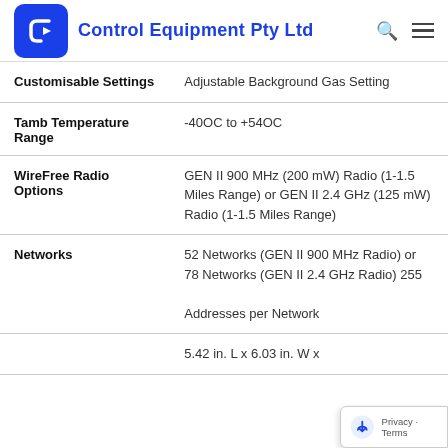Control Equipment Pty Ltd
| Setting | Value |
| --- | --- |
| Customisable Settings | Adjustable Background Gas Setting |
| Tamb Temperature Range | -40OC to +54OC |
| WireFree Radio Options | GEN II 900 MHz (200 mW) Radio (1-1.5 Miles Range) or GEN II 2.4 GHz (125 mW) Radio (1-1.5 Miles Range) |
| Networks | 52 Networks (GEN II 900 MHz Radio) or 78 Networks (GEN II 2.4 GHz Radio) 255 Addresses per Network |
|  | 5.42 in. L x 6.03 in. W x |